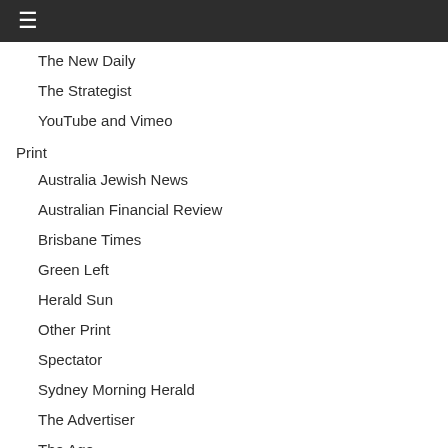☰
The New Daily
The Strategist
YouTube and Vimeo
Print
Australia Jewish News
Australian Financial Review
Brisbane Times
Green Left
Herald Sun
Other Print
Spectator
Sydney Morning Herald
The Advertiser
The Age
The Australian